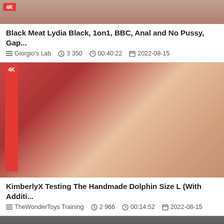[Figure (photo): Video thumbnail showing adult content with 4K badge, partially visible at top]
Black Meat Lydia Black, 1on1, BBC, Anal and No Pussy, Gap...
Giorgio's Lab   3 350   00:40:22   2022-08-15
[Figure (photo): Video thumbnail showing adult content with 4K badge]
KimberlyX Testing The Handmade Dolphin Size L (With Additi...
TheWonderToys Training   2 966   00:14:52   2022-08-15
[Figure (photo): Video thumbnail showing adult content, partially visible at bottom]